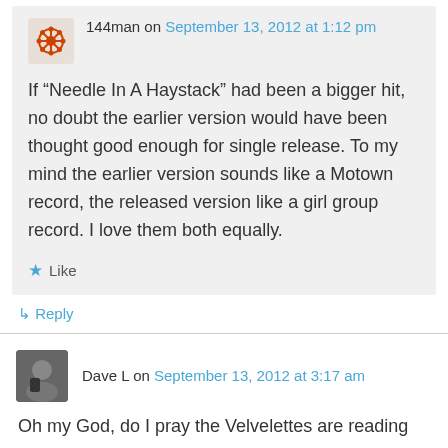144man on September 13, 2012 at 1:12 pm
If “Needle In A Haystack” had been a bigger hit, no doubt the earlier version would have been thought good enough for single release. To my mind the earlier version sounds like a Motown record, the released version like a girl group record. I love them both equally.
★ Like
↳ Reply
Dave L on September 13, 2012 at 3:17 am
Oh my God, do I pray the Velvelettes are reading this. This review is exactly the love letter they’ve